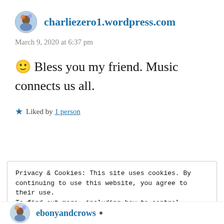charliezero1.wordpress.com
March 9, 2020 at 6:37 pm
🙂 Bless you my friend. Music connects us all.
★ Liked by 1 person
Privacy & Cookies: This site uses cookies. By continuing to use this website, you agree to their use.
To find out more, including how to control cookies, see here: Cookie Policy
Close and accept
ebonyandcrows